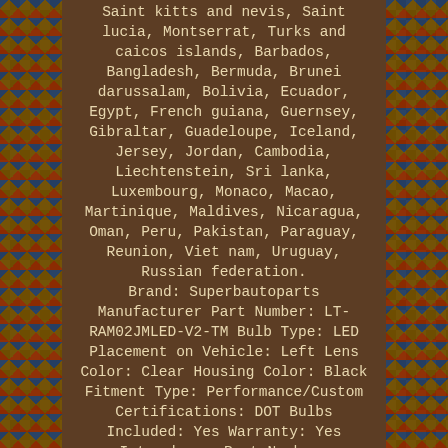Saint kitts and nevis, Saint lucia, Montserrat, Turks and caicos islands, Barbados, Bangladesh, Bermuda, Brunei darussalam, Bolivia, Ecuador, Egypt, French guiana, Guernsey, Gibraltar, Guadeloupe, Iceland, Jersey, Jordan, Cambodia, Liechtenstein, Sri lanka, Luxembourg, Monaco, Macao, Martinique, Maldives, Nicaragua, Oman, Peru, Pakistan, Paraguay, Reunion, Viet nam, Uruguay, Russian federation. Brand: Superbautoparts Manufacturer Part Number: LT-RAM02JMLED-V2-TM Bulb Type: LED Placement on Vehicle: Left Lens Color: Clear Housing Color: Black Fitment Type: Performance/Custom Certifications: DOT Bulbs Included: Yes Warranty: Yes Interchange Part Number: 55077348AF/55077347AF Other Part